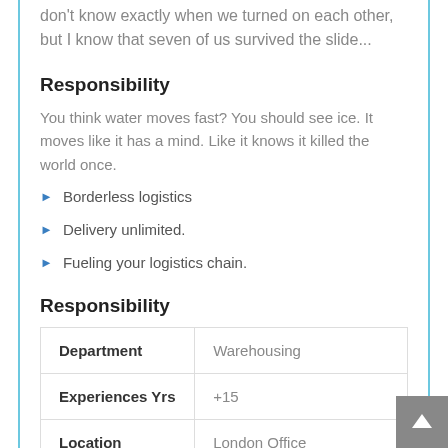don't know exactly when we turned on each other, but I know that seven of us survived the slide...
Responsibility
You think water moves fast? You should see ice. It moves like it has a mind. Like it knows it killed the world once.
Borderless logistics
Delivery unlimited.
Fueling your logistics chain.
Responsibility
| Department | Warehousing |
| --- | --- |
| Experiences Yrs | +15 |
| Location | London Office |